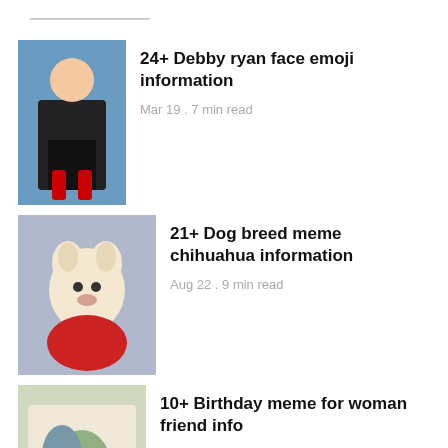24+ Debby ryan face emoji information
Mar 19 . 7 min read
21+ Dog breed meme chihuahua information
Aug 22 . 9 min read
10+ Birthday meme for woman friend info
Jun 04 . 11 min read
35+ Bart simpson meme template information
Jul 31 . 9 min read
10+ ...